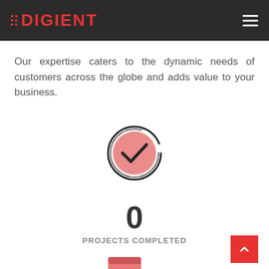DIGIENT
Our expertise caters to the dynamic needs of customers across the globe and adds value to your business.
[Figure (illustration): Circular checkmark icon with pink/salmon fill and black outline, representing completed projects]
0
PROJECTS COMPLETED
[Figure (illustration): Document with gear/settings icon, partially visible at bottom of page]